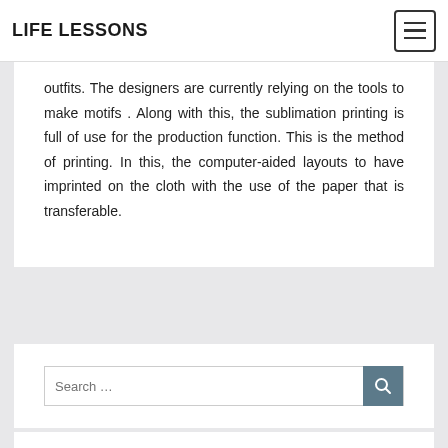LIFE LESSONS
outfits. The designers are currently relying on the tools to make motifs . Along with this, the sublimation printing is full of use for the production function. This is the method of printing. In this, the computer-aided layouts to have imprinted on the cloth with the use of the paper that is transferable.